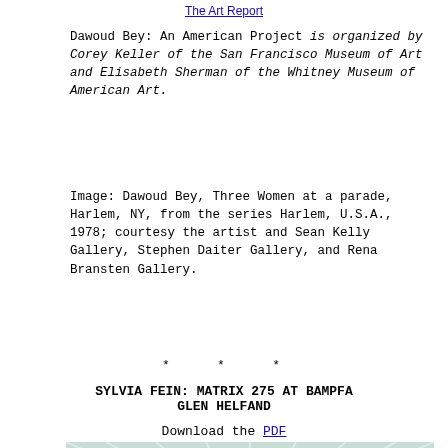The Art Report
Dawoud Bey: An American Project is organized by Corey Keller of the San Francisco Museum of Art and Elisabeth Sherman of the Whitney Museum of American Art.
Image: Dawoud Bey, Three Women at a parade, Harlem, NY, from the series Harlem, U.S.A., 1978; courtesy the artist and Sean Kelly Gallery, Stephen Daiter Gallery, and Rena Bransten Gallery.
* * *
SYLVIA FEIN: MATRIX 275 AT BAMPFA
GLEN HELFAND
Download the PDF
[Figure (illustration): Painting of a large stylized eye with red eyelid outlines, a blue-purple iris, black pupil, and radiating brushstrokes in teal and white in the background, suggesting light emanating from the eye.]